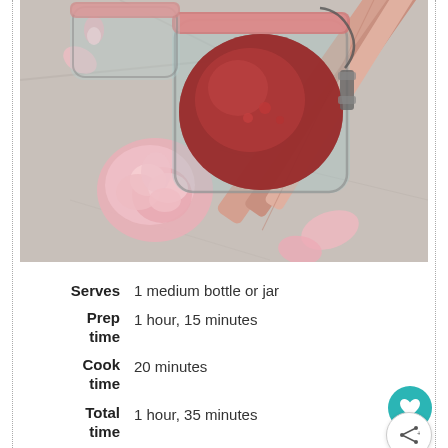[Figure (photo): Overhead photo of a glass jar with clip top lid containing dark red rhubarb and rose syrup, with pink rose flowers and rhubarb stalks on a marble surface.]
Serves  1 medium bottle or jar
Prep time  1 hour, 15 minutes
Cook time  20 minutes
Total time  1 hour, 35 minutes